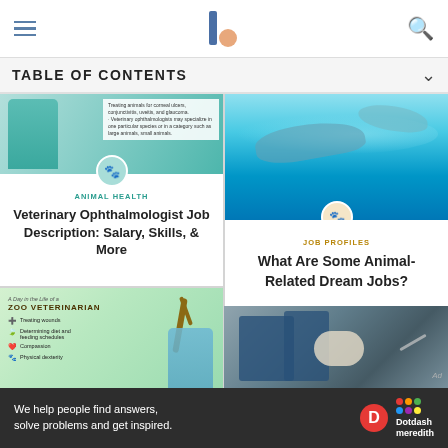Navigation header with hamburger menu, logo, and search icon
TABLE OF CONTENTS
[Figure (illustration): Card thumbnail showing veterinary ophthalmologist infographic with teal/blue color scheme, paw print badge]
ANIMAL HEALTH
Veterinary Ophthalmologist Job Description: Salary, Skills, & More
[Figure (photo): Photo of dolphins swimming in clear turquoise water with coral reef, paw print badge overlay]
JOB PROFILES
What Are Some Animal-Related Dream Jobs?
[Figure (infographic): Infographic: A Day in the Life of a ZOO VETERINARIAN with green background, listing: Treating wounds, Determining diet and feeding schedules, Compassion, Physical dexterity]
[Figure (photo): Photo of two veterinarians in scrubs examining a white dog with stethoscope, Ad label]
We help people find answers, solve problems and get inspired. Dotdash meredith